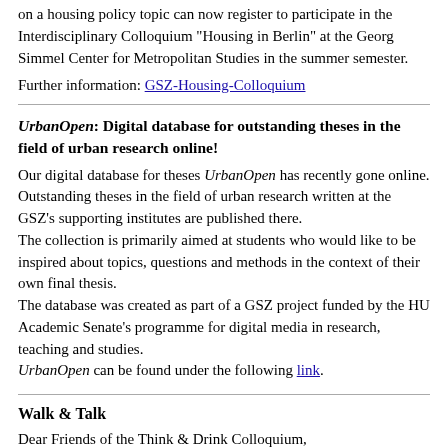on a housing policy topic can now register to participate in the Interdisciplinary Colloquium "Housing in Berlin" at the Georg Simmel Center for Metropolitan Studies in the summer semester.
Further information: GSZ-Housing-Colloquium
UrbanOpen: Digital database for outstanding theses in the field of urban research online!
Our digital database for theses UrbanOpen has recently gone online. Outstanding theses in the field of urban research written at the GSZ's supporting institutes are published there.
The collection is primarily aimed at students who would like to be inspired about topics, questions and methods in the context of their own final thesis.
The database was created as part of a GSZ project funded by the HU Academic Senate's programme for digital media in research, teaching and studies.
UrbanOpen can be found under the following link.
Walk & Talk
Dear Friends of the Think & Drink Colloquium,
we are pleased to announce that in June and July 2021 we will